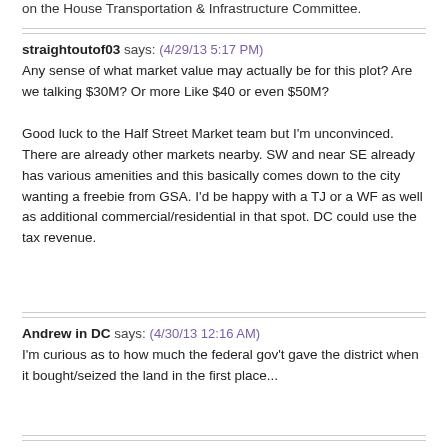on the House Transportation & Infrastructure Committee.
straightoutof03 says: (4/29/13 5:17 PM)
Any sense of what market value may actually be for this plot? Are we talking $30M? Or more Like $40 or even $50M?

Good luck to the Half Street Market team but I'm unconvinced. There are already other markets nearby. SW and near SE already has various amenities and this basically comes down to the city wanting a freebie from GSA. I'd be happy with a TJ or a WF as well as additional commercial/residential in that spot. DC could use the tax revenue.
Andrew in DC says: (4/30/13 12:16 AM)
I'm curious as to how much the federal gov't gave the district when it bought/seized the land in the first place...